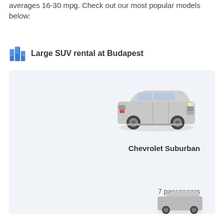averages 16-30 mpg. Check out our most popular models below:
Large SUV rental at Budapest
[Figure (photo): Chevrolet Suburban large SUV vehicle photo, silver color, side/front view]
Chevrolet Suburban
7 passengers
5 doors
[Figure (photo): Partial view of another car at bottom of page]